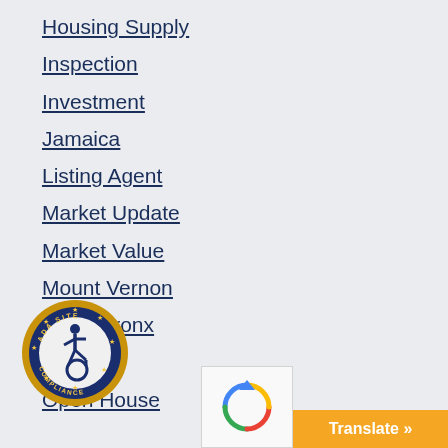Housing Supply
Inspection
Investment
Jamaica
Listing Agent
Market Update
Market Value
Mount Vernon
North Bronx
NY
Open House
[Figure (logo): ADA Site Compliance badge — circular badge with wheelchair accessibility symbol, gold stars, and text reading ADA SITE COMPLIANCE]
Translate »